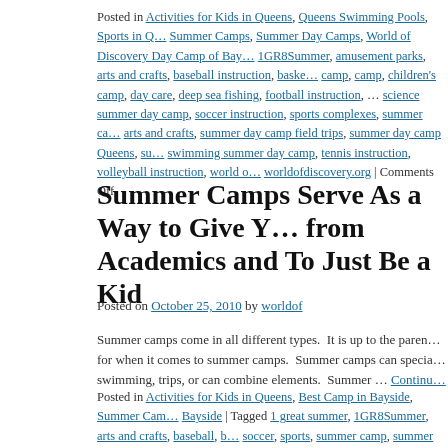Posted in Activities for Kids in Queens, Queens Swimming Pools, Sports in Queens, Summer Camps, Summer Day Camps, World of Discovery Day Camp of Bayside | Tagged 1GR8Summer, amusement parks, arts and crafts, baseball instruction, basketball camp, camp, children's camp, day care, deep sea fishing, football instruction, science summer day camp, soccer instruction, sports complexes, summer camp arts and crafts, summer day camp field trips, summer day camp Queens, swimming summer day camp, tennis instruction, volleyball instruction, worldofdiscovery.org | Comments Off
Summer Camps Serve As a Way to Give Youth a Break from Academics and To Just Be a Kid
Posted on October 25, 2010 by worldof
Summer camps come in all different types. It is up to the parents to decide what is best for when it comes to summer camps. Summer camps can specialize in sports, swimming, trips, or can combine elements. Summer … Continue reading
Posted in Activities for Kids in Queens, Best Camp in Bayside, Summer Camps in Bayside | Tagged 1 great summer, 1GR8Summer, arts and crafts, baseball, basketball, soccer, sports, summer camp, summer camps, summer day camps, tennis, Volleyball | Comments Off